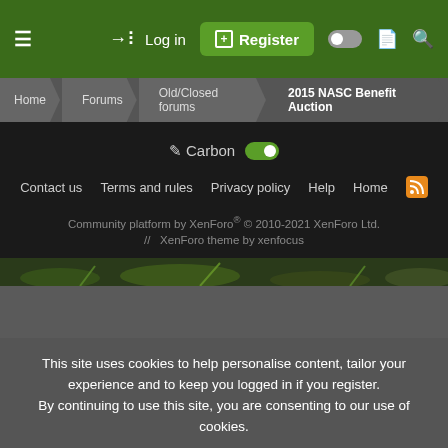≡  → Log in  ⊞ Register  ◑  🗎  🔍
Home > Forums > Old/Closed forums > 2015 NASC Benefit Auction
✏ Carbon  toggle
Contact us  Terms and rules  Privacy policy  Help  Home  RSS
Community platform by XenForo® © 2010-2021 XenForo Ltd.
// XenForo theme by xenfocus
[Figure (photo): Nature/plant background strip]
This site uses cookies to help personalise content, tailor your experience and to keep you logged in if you register.
By continuing to use this site, you are consenting to our use of cookies.
✓ Accept  Learn more...